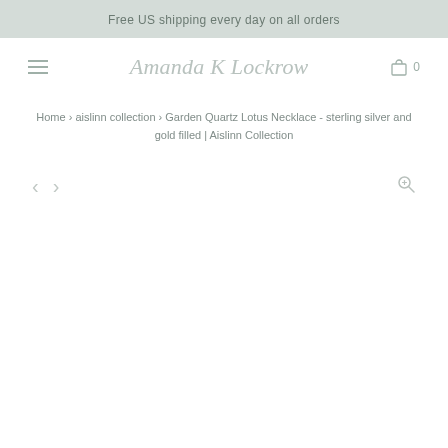Free US shipping every day on all orders
[Figure (logo): Amanda K Lockrow script logo in italic gray text]
Home › aislinn collection › Garden Quartz Lotus Necklace - sterling silver and gold filled | Aislinn Collection
[Figure (other): Navigation controls: left arrow, right arrow, and zoom/magnify icon. Empty product image area below.]